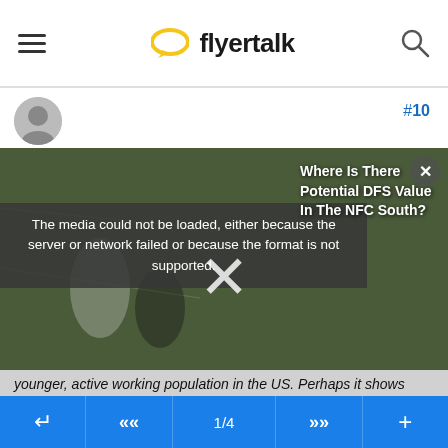flyertalk
#10
[Figure (screenshot): Football game image with media error overlay and DFS article teaser. Error message: 'The media could not be loaded, either because the server or network failed or because the format is not supported.' DFS overlay text: 'Where Is There Potential DFS Value In The NFC South?']
younger, active working population in the US. Perhaps it shows where the true political capital lies (but that is a discussion for bad OMNI!)
I suspect that if vaccination continues at a slow rate AND the economy sputters further, most companies will offer vaccinations on-site and shoulder any costs. They will rationalize those costs as being worth it. Prior companies
1/4